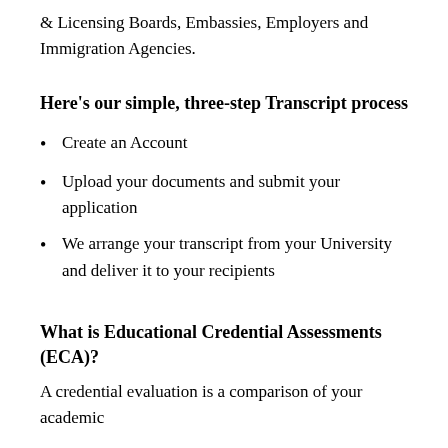& Licensing Boards, Embassies, Employers and Immigration Agencies.
Here’s our simple, three-step Transcript process
Create an Account
Upload your documents and submit your application
We arrange your transcript from your University and deliver it to your recipients
What is Educational Credential Assessments (ECA)?
A credential evaluation is a comparison of your academic